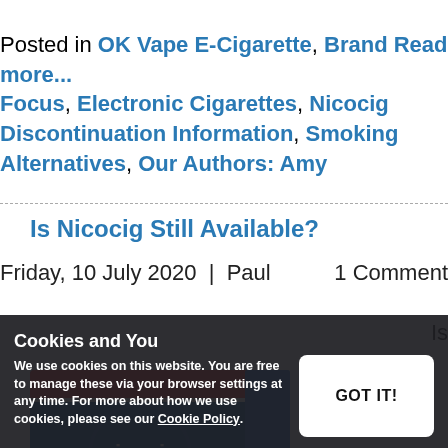Posted in OK Vape E-Cigarette, Brand Read more... Focus, Electronic Cigarettes, Nicocig Discontinuation Information, Smoking Alternatives, Our Authors: Amy
Is Nicocig Still Available?
Friday, 10 July 2020 | Paul   1 Comment
Is
[Figure (photo): Nicocig electronic cigarette product box in blue packaging, partially visible]
Cookies and You
We use cookies on this website. You are free to manage these via your browser settings at any time. For more about how we use cookies, please see our Cookie Policy.